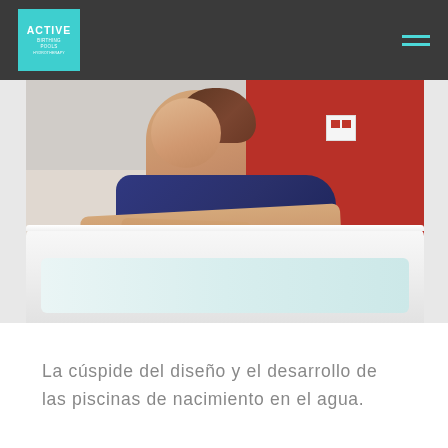ACTIVE [logo] navigation bar
[Figure (photo): Woman in a blue sports top leaning on the rim of a white birthing pool/bathtub, with red wall in background. Clinical/medical setting.]
La cúspide del diseño y el desarrollo de las piscinas de nacimiento en el agua.